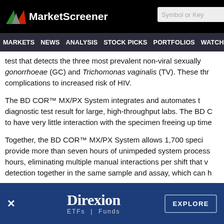MarketScreener — Symbol or Key
MARKETS NEWS ANALYSIS STOCK PICKS PORTFOLIOS WATCHLI
test that detects the three most prevalent non-viral sexually... gonorrhoeae (GC) and Trichomonas vaginalis (TV). These thr... complications to increased risk of HIV.
The BD COR™ MX/PX System integrates and automates t... diagnostic test result for large, high-throughput labs. The BD C... to have very little interaction with the specimen freeing up time...
Together, the BD COR™ MX/PX System allows 1,700 speci... provide more than seven hours of unimpeded system process... hours, eliminating multiple manual interactions per shift that v... detection together in the same sample and assay, which can h...
[Figure (screenshot): Direxion ETFs | Funds advertisement banner with EXPLORE button]